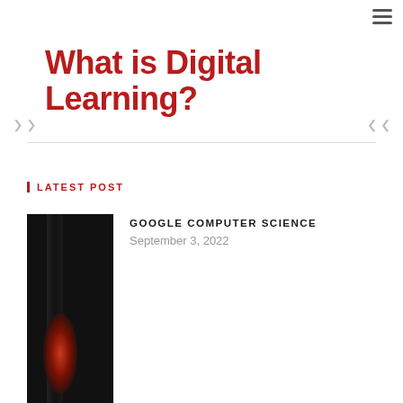☰
What is Digital Learning?
LATEST POST
[Figure (photo): Dark background photo with red/orange glowing oval shape and black reflective stripe]
GOOGLE COMPUTER SCIENCE
September 3, 2022